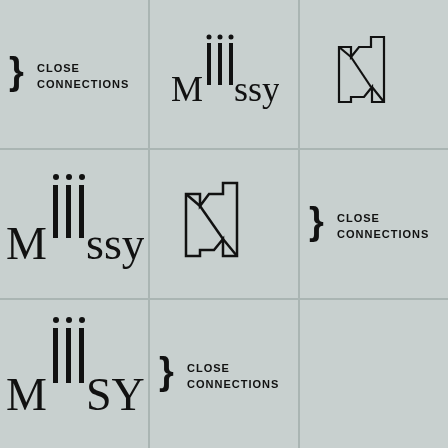[Figure (logo): Close Connections logo: curly brace symbol followed by text CLOSE CONNECTIONS in two lines, bold sans-serif]
[Figure (logo): Milssy logo: letters M-i-l-s-s-y with three tall vertical bars above the M area and three dots above the bars]
[Figure (logo): Geometric N logo: outline polygon letter N with angular 3D fold effect]
[Figure (logo): Milssy logo larger: letters M-i-l-s-s-y with three tall vertical bars and three dots, larger size]
[Figure (logo): Geometric N logo medium: outline polygon letter N with angular 3D fold effect, medium size]
[Figure (logo): Close Connections logo medium: curly brace symbol followed by text CLOSE CONNECTIONS in two lines]
[Figure (logo): Milssy logo bottom row: letters M-i-l-s-s-y with three tall vertical bars and three dots, partially shown]
[Figure (logo): Close Connections logo bottom: curly brace symbol followed by text CLOSE CONNECTIONS in two lines]
[Figure (logo): Empty cell bottom right]